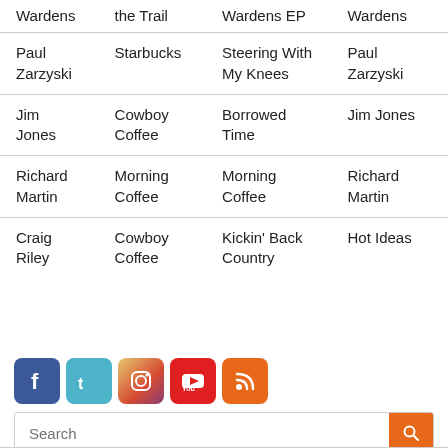| Wardens | the Trail | Wardens EP | Wardens |
| --- | --- | --- | --- |
| Paul Zarzyski | Starbucks | Steering With My Knees | Paul Zarzyski |
| Jim Jones | Cowboy Coffee | Borrowed Time | Jim Jones |
| Richard Martin | Morning Coffee | Morning Coffee | Richard Martin |
| Craig Riley | Cowboy Coffee | Kickin' Back Country | Hot Ideas |
[Figure (infographic): Row of five social media icons: Facebook (blue), Twitter (teal), Instagram (gradient), YouTube (red), RSS (orange)]
Search